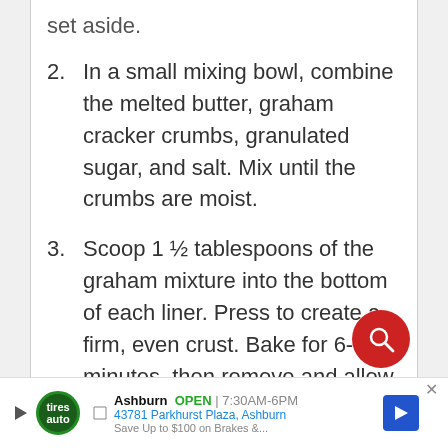set aside.
2. In a small mixing bowl, combine the melted butter, graham cracker crumbs, granulated sugar, and salt. Mix until the crumbs are moist.
3. Scoop 1 ½ tablespoons of the graham mixture into the bottom of each liner. Press to create a firm, even crust. Bake for 6-8 minutes, then remove and allow to cool.
[Figure (other): Red circular search button with magnifying glass icon]
Ashburn  OPEN | 7:30AM-6PM
43781 Parkhurst Plaza, Ashburn
Save Up to $100 on Brakes &...